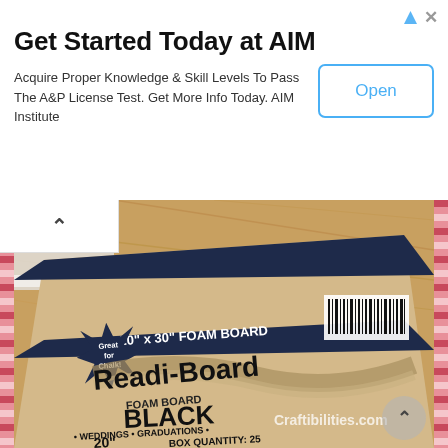[Figure (screenshot): Advertisement banner: 'Get Started Today at AIM' with subtitle 'Acquire Proper Knowledge & Skill Levels To Pass The A&P License Test. Get More Info Today. AIM Institute' and an 'Open' button on the right. Arrow and X icons top right.]
[Figure (photo): Photo of a Readi-Board foam board product box on a hardwood floor. The box reads '20" x 30" FOAM BOARD', 'Great for Chalk!', 'Readi-Board FOAM BOARD', 'BLACK', '• WEDDINGS • GRADUATIONS • • ANNIVERSARIES • PRESENTATIONS • • SCHOOL • OFFICE • PARTIES •', 'BOX QUANTITY: 25'. Watermark text 'Craftibilities.com' visible on image. A scroll-up arrow button is visible at bottom right.]